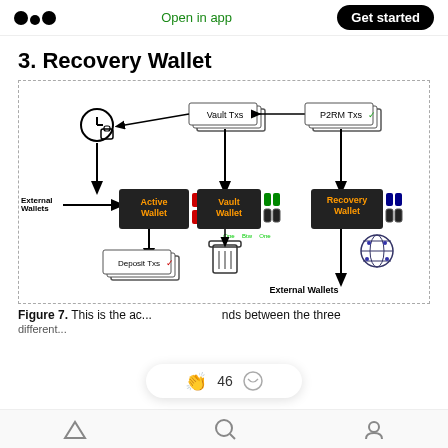Medium logo | Open in app | Get started
3. Recovery Wallet
[Figure (flowchart): Flowchart showing architecture of a Recovery Wallet system with three wallets (Active Wallet, Vault Wallet, Recovery Wallet), connected by arrows. Includes Vault Txs, P2RM Txs, Deposit Txs nodes, clock/lock icon, trash icon, globe icon, USB keys, and External Wallets labels.]
Figure 7. This is the ac... ...nds between the three different...